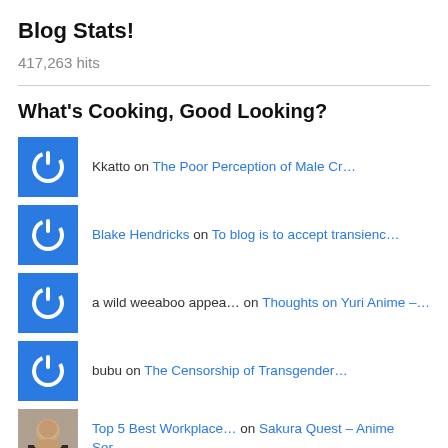Blog Stats!
417,263 hits
What's Cooking, Good Looking?
Kkatto on The Poor Perception of Male Cr…
Blake Hendricks on To blog is to accept transienc…
a wild weeaboo appea… on Thoughts on Yuri Anime –…
bubu on The Censorship of Transgender…
Top 5 Best Workplace… on Sakura Quest – Anime Ser…
Anime confessions -… on Expectations, Anime, and You